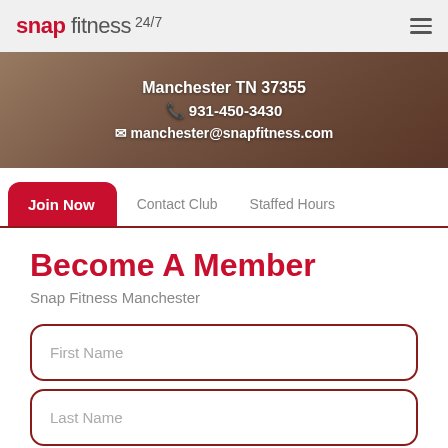snap fitness 24/7
Manchester TN 37355
931-450-3430
manchester@snapfitness.com
Join Now | Contact Club | Staffed Hours
Become A Member
Snap Fitness Manchester
First Name
Last Name